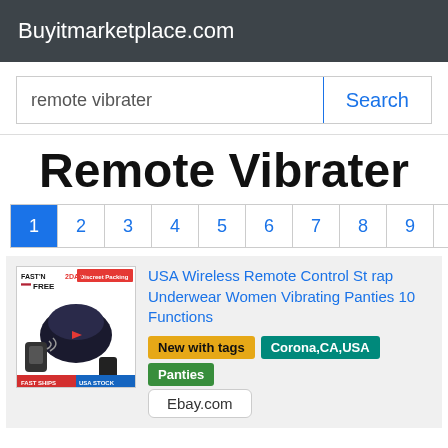Buyitmarketplace.com
remote vibrater
Search
Remote Vibrater
1 2 3 4 5 6 7 8 9 10
USA Wireless Remote Control Strap Underwear Women Vibrating Panties 10 Functions
New with tags  Corona,CA,USA  Panties
Ebay.com